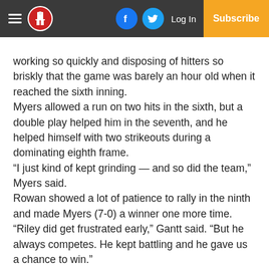Navigation bar with hamburger menu, logo, Facebook icon, Twitter icon, Log In, Subscribe
working so quickly and disposing of hitters so briskly that the game was barely an hour old when it reached the sixth inning.
Myers allowed a run on two hits in the sixth, but a double play helped him in the seventh, and he helped himself with two strikeouts during a dominating eighth frame.
“I just kind of kept grinding — and so did the team,” Myers said.
Rowan showed a lot of patience to rally in the ninth and made Myers (7-0) a winner one more time.
“Riley did get frustrated early,” Gantt said. “But he always competes. He kept battling and he gave us a chance to win.”